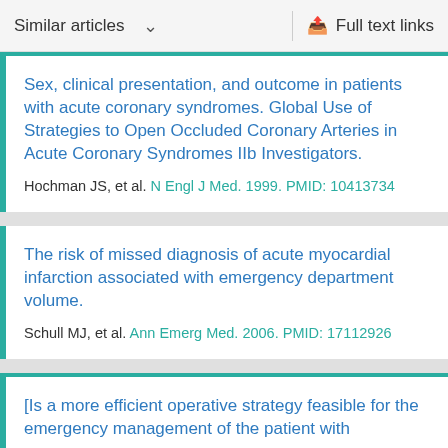Similar articles   Full text links
Sex, clinical presentation, and outcome in patients with acute coronary syndromes. Global Use of Strategies to Open Occluded Coronary Arteries in Acute Coronary Syndromes IIb Investigators.
Hochman JS, et al. N Engl J Med. 1999. PMID: 10413734
The risk of missed diagnosis of acute myocardial infarction associated with emergency department volume.
Schull MJ, et al. Ann Emerg Med. 2006. PMID: 17112926
[Is a more efficient operative strategy feasible for the emergency management of the patient with